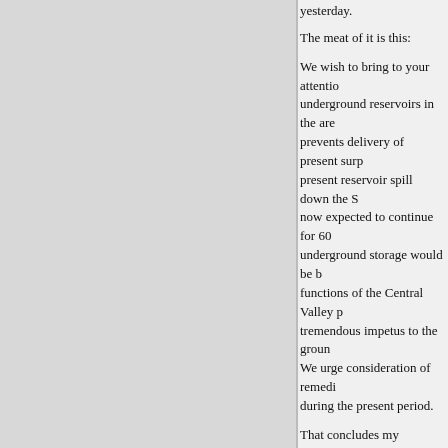yesterday.
The meat of it is this:
We wish to bring to your attention underground reservoirs in the area prevents delivery of present surplus present reservoir spill down the S now expected to continue for 60 underground storage would be be functions of the Central Valley p tremendous impetus to the groun We urge consideration of remedi during the present period.
That concludes my statement, M record.)
Senator ANDERSON. Mr. Horto appreciate it.
STATEMENT OF HARRY W. H
IRRIGATION DISTRICT, CA committee, I am imposing upon go back to California.
My name is Harry W. Horton,